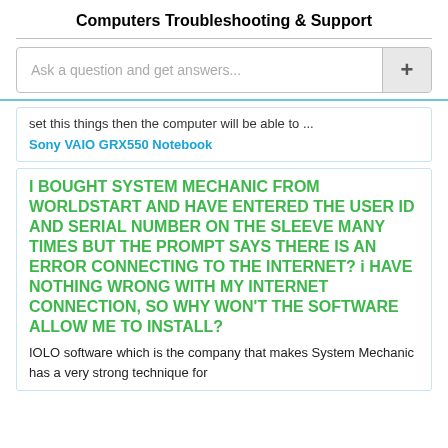Computers
Troubleshooting & Support
Ask a question and get answers...
set this things then the computer will be able to ...
Sony VAIO GRX550 Notebook
I BOUGHT SYSTEM MECHANIC FROM WORLDSTART AND HAVE ENTERED THE USER ID AND SERIAL NUMBER ON THE SLEEVE MANY TIMES BUT THE PROMPT SAYS THERE IS AN ERROR CONNECTING TO THE INTERNET? i HAVE NOTHING WRONG WITH MY INTERNET CONNECTION, SO WHY WON'T THE SOFTWARE ALLOW ME TO INSTALL?
IOLO software which is the company that makes System Mechanic has a very strong technique for